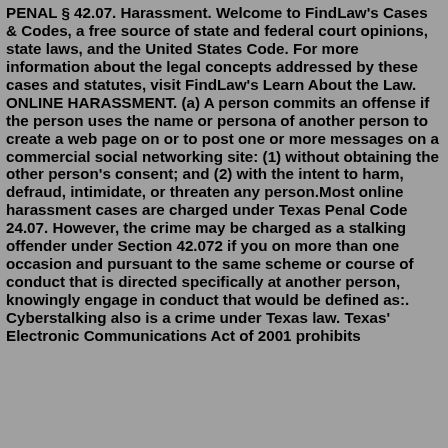PENAL § 42.07. Harassment. Welcome to FindLaw's Cases & Codes, a free source of state and federal court opinions, state laws, and the United States Code. For more information about the legal concepts addressed by these cases and statutes, visit FindLaw's Learn About the Law. ONLINE HARASSMENT. (a) A person commits an offense if the person uses the name or persona of another person to create a web page on or to post one or more messages on a commercial social networking site: (1) without obtaining the other person's consent; and (2) with the intent to harm, defraud, intimidate, or threaten any person.Most online harassment cases are charged under Texas Penal Code 24.07. However, the crime may be charged as a stalking offender under Section 42.072 if you on more than one occasion and pursuant to the same scheme or course of conduct that is directed specifically at another person, knowingly engage in conduct that would be defined as:. Cyberstalking also is a crime under Texas law. Texas' Electronic Communications Act of 2001 prohibits